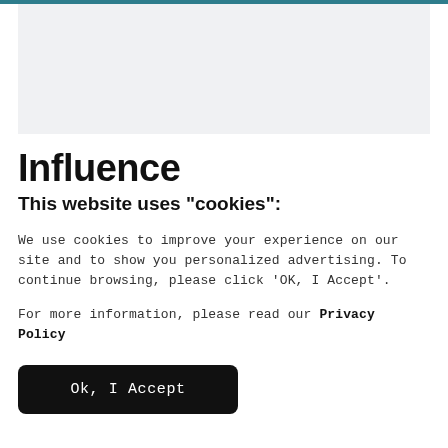[Figure (screenshot): Light gray rectangular placeholder image area at the top of the page]
Influence
This website uses "cookies":
We use cookies to improve your experience on our site and to show you personalized advertising. To continue browsing, please click ‘OK, I Accept’.
For more information, please read our Privacy Policy
Ok, I Accept